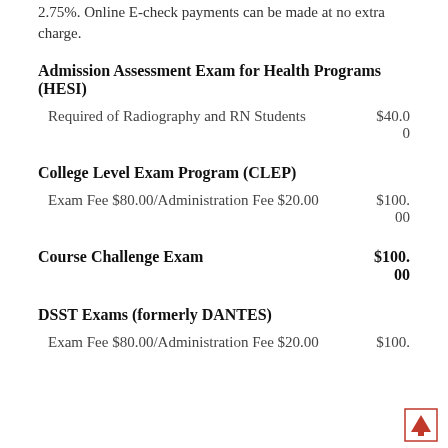2.75%. Online E-check payments can be made at no extra charge.
Admission Assessment Exam for Health Programs (HESI)
Required of Radiography and RN Students    $40.00
College Level Exam Program (CLEP)
Exam Fee $80.00/Administration Fee $20.00    $100.00
Course Challenge Exam
$100.00
DSST Exams (formerly DANTES)
Exam Fee $80.00/Administration Fee $20.00    $100.